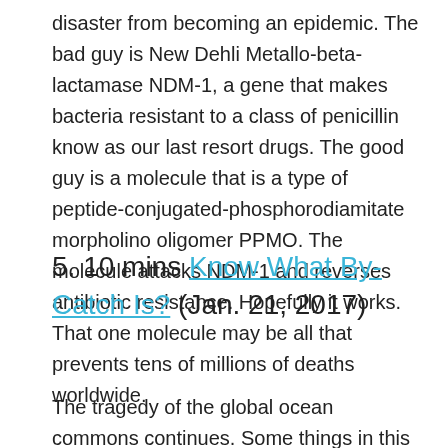disaster from becoming an epidemic. The bad guy is New Dehli Metallo-beta-lactamase NDM-1, a gene that makes bacteria resistant to a class of penicillin know as our last resort drugs. The good guy is a molecule that is a type of peptide-conjugated-phosphorodiamitate morpholino oligomer PPMO. The molecule attacks NDM-1 and reverses antibiotic resistance. Hopefully it works. That one molecule may be all that prevents tens of millions of deaths worldwide.
5. 10 mins Know What By-Catch Is? (Jan. 21, 2017)
The tragedy of the global ocean commons continues. Some things in this article standout: